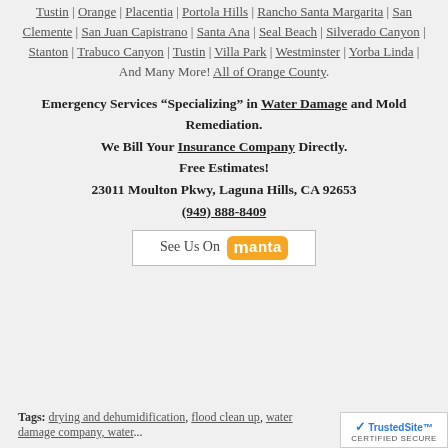Tustin | Orange | Placentia | Portola Hills | Rancho Santa Margarita | San Clemente | San Juan Capistrano | Santa Ana | Seal Beach | Silverado Canyon | Stanton | Trabuco Canyon | Tustin | Villa Park | Westminster | Yorba Linda | And Many More! All of Orange County.
Emergency Services “Specializing” in Water Damage and Mold Remediation. We Bill Your Insurance Company Directly. Free Estimates! 23011 Moulton Pkwy, Laguna Hills, CA 92653 (949) 888-8409
[Figure (logo): See Us On Manta badge/button]
Tags: drying and dehumidification, flood clean up, water damage company, water...